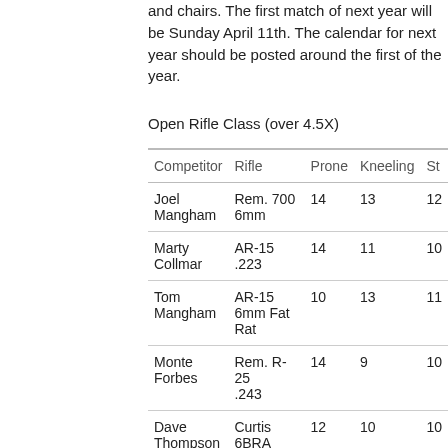and chairs. The first match of next year will be Sunday April 11th. The calendar for next year should be posted around the first of the year.
Open Rifle Class (over 4.5X)
| Competitor | Rifle | Prone | Kneeling | St |
| --- | --- | --- | --- | --- |
| Joel Mangham | Rem. 700 6mm | 14 | 13 | 12 |
| Marty Collmar | AR-15 .223 | 14 | 11 | 10 |
| Tom Mangham | AR-15 6mm Fat Rat | 10 | 13 | 11 |
| Monte Forbes | Rem. R-25 .243 | 14 | 9 | 10 |
| Dave Thompson | Curtis 6BRA | 12 | 10 | 10 |